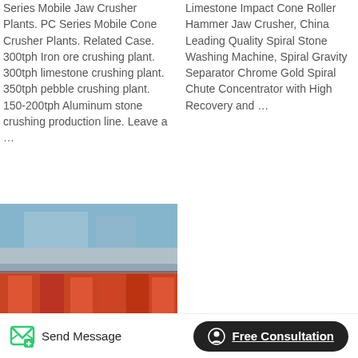Series Mobile Jaw Crusher Plants. PC Series Mobile Cone Crusher Plants. Related Case. 300tph Iron ore crushing plant. 300tph limestone crushing plant. 350tph pebble crushing plant. 150-200tph Aluminum stone crushing production line. Leave a …
Limestone Impact Cone Roller Hammer Jaw Crusher, China Leading Quality Spiral Stone Washing Machine, Spiral Gravity Separator Chrome Gold Spiral Chute Concentrator with High Recovery and …
[Figure (photo): Industrial crushing machinery in a factory setting with red/orange equipment]
[Figure (photo): Large orange industrial drum/ball mill machines and separators outdoors with an upload icon overlay]
Send Message  Free Consultation